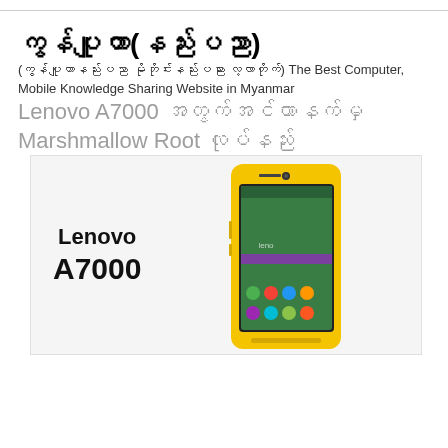ကွန်ပျူတာ(နည်းပညာ)
(ကွန်ပျူတာနည်းပညာ မိုဘိုင်းနည်းပညာ လေ့လာတိုက်) The Best Computer, Mobile Knowledge Sharing Website in Myanmar
Lenovo A7000 အတွက်အင်တာနက်မှ Marshmallow Root လုပ်နည်း
[Figure (photo): Lenovo A7000 smartphone product image showing a yellow Lenovo A7000 phone with text 'Lenovo A7000' on the left side and the phone handset on the right side against a light grey background]